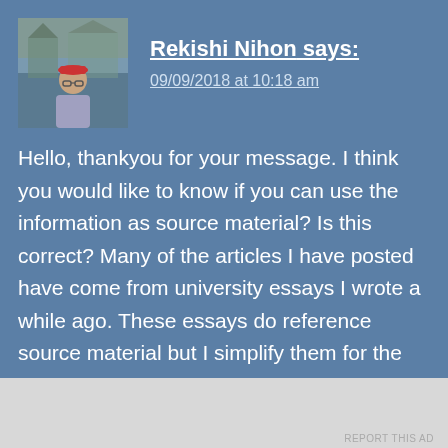[Figure (photo): Avatar photo of Rekishi Nihon — person wearing red cap outdoors near traditional building]
Rekishi Nihon says:
09/09/2018 at 10:18 am
Hello, thankyou for your message. I think you would like to know if you can use the information as source material? Is this correct? Many of the articles I have posted have come from university essays I wrote a while ago. These essays do reference source material but I simplify them for the website. Many of the source materials can be found on the 'Book and Journal' page. Please have a look at this page too. This is a list of all the resource materials I have used.
Advertise info